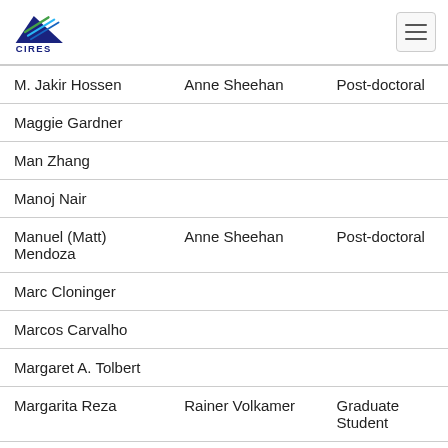CIRES
| M. Jakir Hossen | Anne Sheehan | Post-doctoral |
| Maggie Gardner |  |  |
| Man Zhang |  |  |
| Manoj Nair |  |  |
| Manuel (Matt) Mendoza | Anne Sheehan | Post-doctoral |
| Marc Cloninger |  |  |
| Marcos Carvalho |  |  |
| Margaret A. Tolbert |  |  |
| Margarita Reza | Rainer Volkamer | Graduate Student |
| Maria Antonietta |  |  |